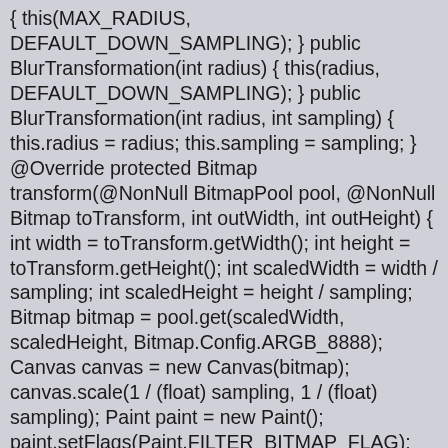{ this(MAX_RADIUS, DEFAULT_DOWN_SAMPLING); } public BlurTransformation(int radius) { this(radius, DEFAULT_DOWN_SAMPLING); } public BlurTransformation(int radius, int sampling) { this.radius = radius; this.sampling = sampling; } @Override protected Bitmap transform(@NonNull BitmapPool pool, @NonNull Bitmap toTransform, int outWidth, int outHeight) { int width = toTransform.getWidth(); int height = toTransform.getHeight(); int scaledWidth = width / sampling; int scaledHeight = height / sampling; Bitmap bitmap = pool.get(scaledWidth, scaledHeight, Bitmap.Config.ARGB_8888); Canvas canvas = new Canvas(bitmap); canvas.scale(1 / (float) sampling, 1 / (float) sampling); Paint paint = new Paint(); paint.setFlags(Paint.FILTER_BITMAP_FLAG); canvas.drawBitmap(toTransform, 0, 0, paint); bitmap = FastBlur.blur(bitmap, radius, true); return bitmap; } @Override public String toString() { return "BlurTransformation(radius=" + radius + ", sampling=" + sampling + ")"; } @Override public boolean equals(Object o) { return o instanceof BlurTransformation &&